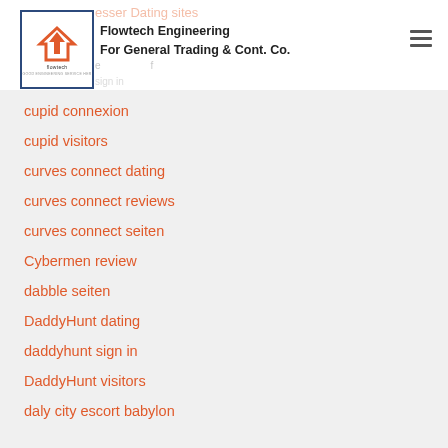Flowtech Engineering For General Trading & Cont. Co.
cupid connexion
cupid visitors
curves connect dating
curves connect reviews
curves connect seiten
Cybermen review
dabble seiten
DaddyHunt dating
daddyhunt sign in
DaddyHunt visitors
daly city escort babylon